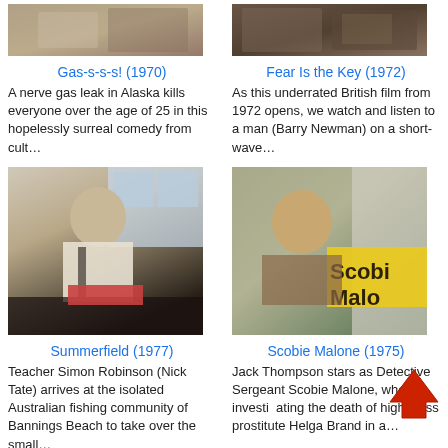[Figure (photo): Movie still from Gas-s-s-s! (1970)]
Gas-s-s-s! (1970)
A nerve gas leak in Alaska kills everyone over the age of 25 in this hopelessly surreal comedy from cult…
[Figure (photo): Movie still from Fear Is the Key (1972)]
Fear Is the Key (1972)
As this underrated British film from 1972 opens, we watch and listen to a man (Barry Newman) on a short-wave…
[Figure (photo): Movie still from Summerfield (1977) showing a man in a white shirt with a tie]
Summerfield (1977)
Teacher Simon Robinson (Nick Tate) arrives at the isolated Australian fishing community of Bannings Beach to take over the small…
[Figure (photo): Movie title card/still from Scobie Malone (1975) showing man in car with yellow title text]
Scobie Malone (1975)
Jack Thompson stars as Detective Sergeant Scobie Malone, who is investigating the death of high-class prostitute Helga Brand in a…